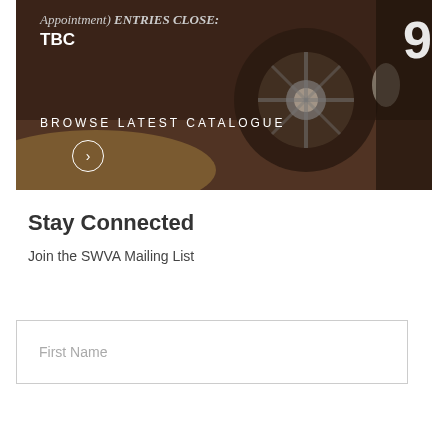[Figure (photo): Hero banner image of a vintage racing car wheel/tire with overlaid text: italic 'Appointment) ENTRIES CLOSE:' followed by bold 'TBC', and 'BROWSE LATEST CATALOGUE' with a circular arrow button. Number '9' visible on the right side.]
Stay Connected
Join the SWVA Mailing List
First Name